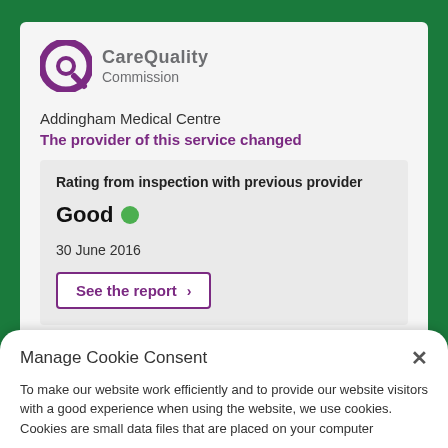[Figure (logo): Care Quality Commission logo with purple circle/Q icon and grey text]
Addingham Medical Centre
The provider of this service changed
Rating from inspection with previous provider
Good ●
30 June 2016
See the report ›
Manage Cookie Consent
To make our website work efficiently and to provide our website visitors with a good experience when using the website, we use cookies. Cookies are small data files that are placed on your computer